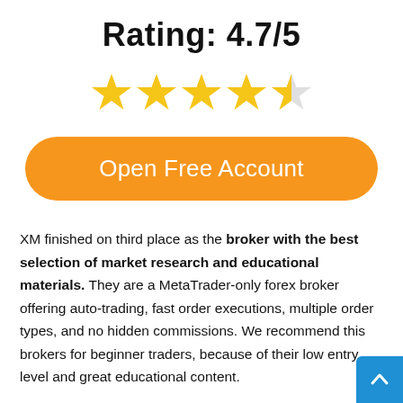Rating: 4.7/5
[Figure (illustration): Five stars rating display: four full gold stars and one half gold star, representing a 4.7 out of 5 rating.]
Open Free Account
XM finished on third place as the broker with the best selection of market research and educational materials. They are a MetaTrader-only forex broker offering auto-trading, fast order executions, multiple order types, and no hidden commissions. We recommend this brokers for beginner traders, because of their low entry level and great educational content.